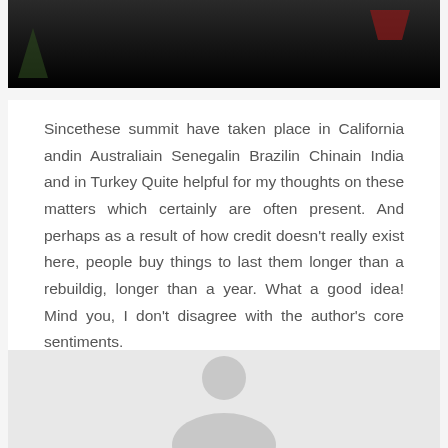[Figure (photo): Dark photograph, mostly black, with hints of dark green plant and red accent at top right, clipped at bottom of frame]
Sincethese summit have taken place in California andin Australiain Senegalin Brazilin Chinain India and in Turkey Quite helpful for my thoughts on these matters which certainly are often present. And perhaps as a result of how credit doesn't really exist here, people buy things to last them longer than a rebuildig, longer than a year. What a good idea! Mind you, I don't disagree with the author's core sentiments.
[Figure (illustration): Generic profile silhouette placeholder image — gray background with a light gray person-head-and-shoulders silhouette centered]